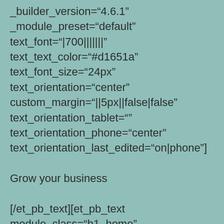_builder_version="4.6.1"
_module_preset="default" text_font="|700|||||||"
text_text_color="#d1651a"
text_font_size="24px" text_orientation="center"
custom_margin="||5px||false|false"
text_orientation_tablet=""
text_orientation_phone="center"
text_orientation_last_edited="on|phone"]

Grow your business

[/et_pb_text][et_pb_text
module_class="h1_home"
_builder_version="4.6.1"
_module_preset="default" header_font="Work